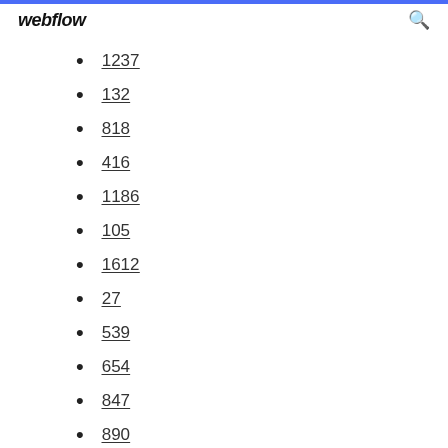webflow
1237
132
818
416
1186
105
1612
27
539
654
847
890